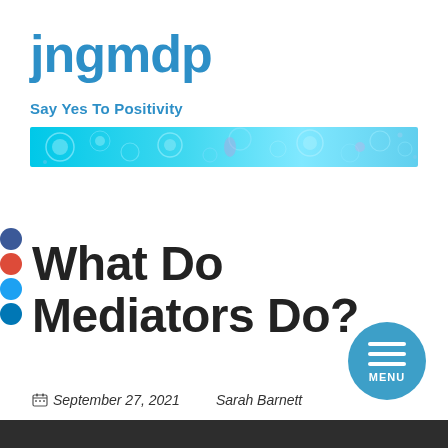jngmdp
Say Yes To Positivity
[Figure (illustration): Decorative banner image with blue/cyan abstract cell or bubble patterns on a bright aqua background]
What Do Mediators Do?
September 27, 2021   Sarah Barnett